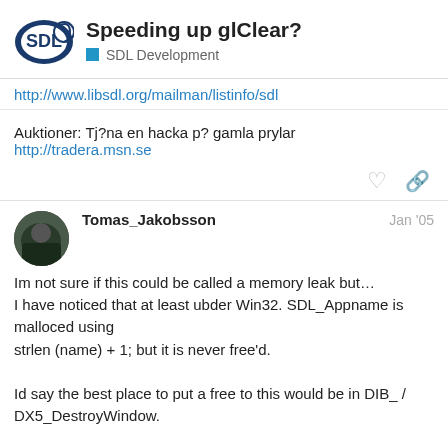Speeding up glClear? SDL Development
http://www.libsdl.org/mailman/listinfo/sdl
Auktioner: Tj?na en hacka p? gamla prylar http://tradera.msn.se
Tomas_Jakobsson  Jan '05
Im not sure if this could be called a memory leak but…
I have noticed that at least ubder Win32. SDL_Appname is malloced using
strlen (name) + 1; but it is never free'd.

Id say the best place to put a free to this would be in DIB_ / DX5_DestroyWindow.

Or maybe its just me that is very strict with
that gets